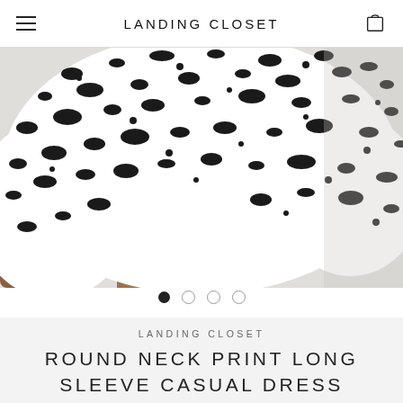LANDING CLOSET
[Figure (photo): Close-up photo of a model wearing a black and white leopard/animal print ruffled dress, fabric flowing outward, legs and a handbag visible]
● ○ ○ ○
LANDING CLOSET
ROUND NECK PRINT LONG SLEEVE CASUAL DRESS